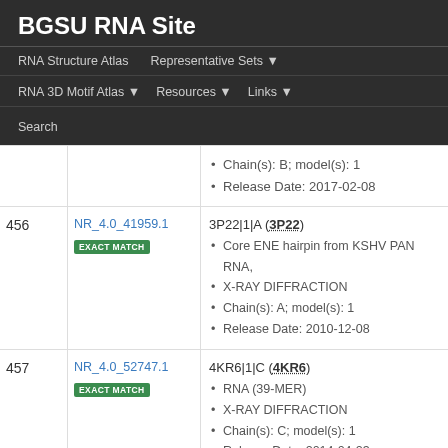BGSU RNA Site
RNA Structure Atlas  Representative Sets  RNA 3D Motif Atlas  Resources  Links  Search
| # | ID | Info |
| --- | --- | --- |
|  |  | Chain(s): B; model(s): 1 | Release Date: 2017-02-08 |
| 456 | NR_4.0_41959.1 EXACT MATCH | 3P22|1|A (3P22) • Core ENE hairpin from KSHV PAN RNA, • X-RAY DIFFRACTION • Chain(s): A; model(s): 1 • Release Date: 2010-12-08 |
| 457 | NR_4.0_52747.1 EXACT MATCH | 4KR6|1|C (4KR6) • RNA (39-MER) • X-RAY DIFFRACTION • Chain(s): C; model(s): 1 • Release Date: 2014-04-23 |